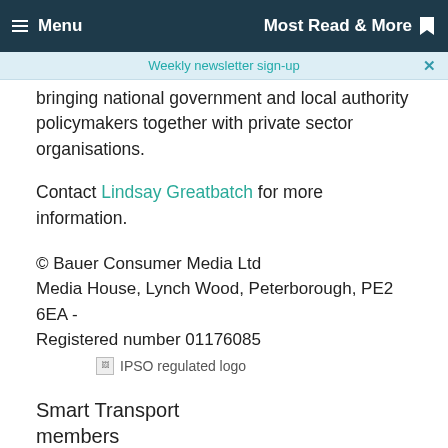Menu | Most Read & More
Weekly newsletter sign-up
bringing national government and local authority policymakers together with private sector organisations.
Contact Lindsay Greatbatch for more information.
© Bauer Consumer Media Ltd
Media House, Lynch Wood, Peterborough, PE2 6EA - Registered number 01176085
[Figure (logo): IPSO regulated logo]
Smart Transport members
[Figure (logo): Row of member organisation logos including C40 Cities, Department for Levelling Up, Housing & Communities, Department for International Trade, Department for Transport, GNCA and others]